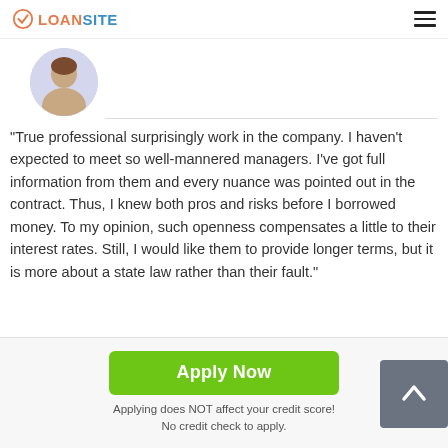LOANSITE
“True professional surprisingly work in the company. I haven’t expected to meet so well-mannered managers. I’ve got full information from them and every nuance was pointed out in the contract. Thus, I knew both pros and risks before I borrowed money. To my opinion, such openness compensates a little to their interest rates. Still, I would like them to provide longer terms, but it is more about a state law rather than their fault.”
Jason of Riverside, CA reviewed 37 days ago
Apply Now
Applying does NOT affect your credit score!
No credit check to apply.